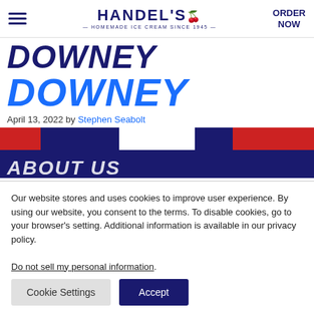HANDEL'S HOMEMADE ICE CREAM SINCE 1945 | ORDER NOW
DOWNEY
DOWNEY
April 13, 2022 by Stephen Seabolt
[Figure (photo): Banner image with red, white, and blue sections over dark navy background with partial 'ABOUT US' text visible at bottom]
Our website stores and uses cookies to improve user experience. By using our website, you consent to the terms. To disable cookies, go to your browser's setting. Additional information is available in our privacy policy.
Do not sell my personal information.
Cookie Settings  Accept